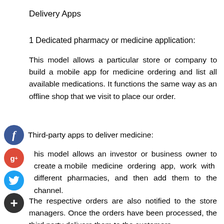Delivery Apps
1 Dedicated pharmacy or medicine application:
This model allows a particular store or company to build a mobile app for medicine ordering and list all available medications. It functions the same way as an offline shop that we visit to place our order.
Third-party apps to deliver medicine:
This model allows an investor or business owner to create a mobile medicine ordering app, work with different pharmacies, and then add them to the channel. The respective orders are also notified to the store managers. Once the orders have been processed, the third party delivers them to the customers.